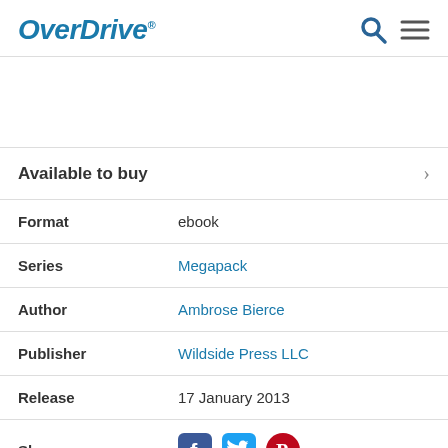OverDrive
Available to buy
| Field | Value |
| --- | --- |
| Format | ebook |
| Series | Megapack |
| Author | Ambrose Bierce |
| Publisher | Wildside Press LLC |
| Release | 17 January 2013 |
| Share |  |